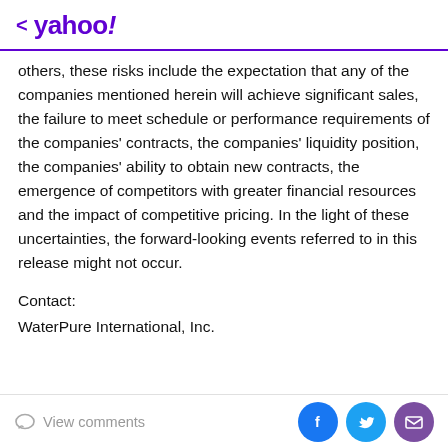< yahoo!
others, these risks include the expectation that any of the companies mentioned herein will achieve significant sales, the failure to meet schedule or performance requirements of the companies' contracts, the companies' liquidity position, the companies' ability to obtain new contracts, the emergence of competitors with greater financial resources and the impact of competitive pricing. In the light of these uncertainties, the forward-looking events referred to in this release might not occur.
Contact:
WaterPure International, Inc.
View comments